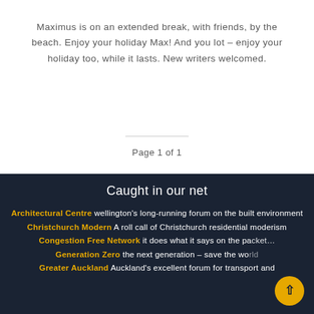Maximus is on an extended break, with friends, by the beach. Enjoy your holiday Max! And you lot – enjoy your holiday too, while it lasts. New writers welcomed.
Page 1 of 1
Caught in our net
Architectural Centre wellington's long-running forum on the built environment
Christchurch Modern A roll call of Christchurch residential moderism
Congestion Free Network it does what it says on the packet...
Generation Zero the next generation – save the world
Greater Auckland Auckland's excellent forum for transport and